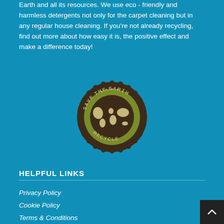Earth and all its resources. We use eco - friendly and harmless detergents not only for the carpet cleaning but in any regular house cleaning. If you're not already recycling, find out more about how easy it is, the positive effect and make a difference today!
[Figure (logo): Circular badge/seal with text 'SAVE THE EARTH' at top and 'RECYCLE' at bottom, with a world map in the center, olive/dark green and brown colors]
HELPFUL LINKS
Privacy Policy
Cookie Policy
Terms & Conditions
Miss Merry
Prices
Blog